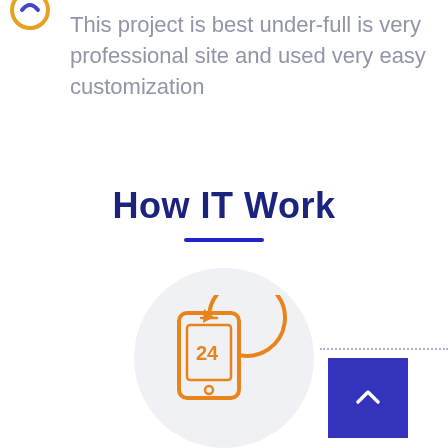This project is best under-full is very professional site and used very easy customization
How IT Work
[Figure (illustration): Orange icon of a smartphone with a circular 24-hour arrow symbol, placed inside a large light gray circle background. A dotted horizontal line extends to the right. A dark blue scroll-to-top button with a white chevron arrow is in the bottom right.]